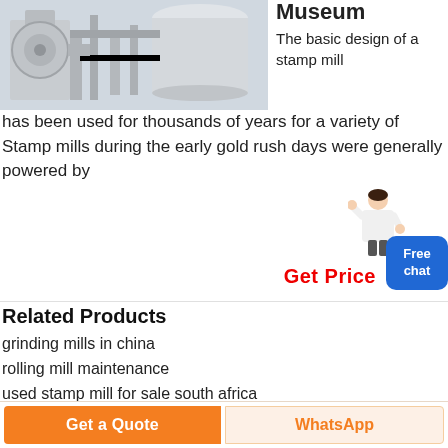[Figure (photo): Industrial machinery/stamp mill equipment in a factory or museum setting, showing large cylindrical silos and pipe systems]
Museum
The basic design of a stamp mill has been used for thousands of years for a variety of Stamp mills during the early gold rush days were generally powered by
Get Price
[Figure (illustration): Customer service person/agent illustration]
Related Products
grinding mills in china
rolling mill maintenance
used stamp mill for sale south africa
rock grinding mill price
ball milling pesticides
freeport roller mills inc freeport
Get a Quote
WhatsApp